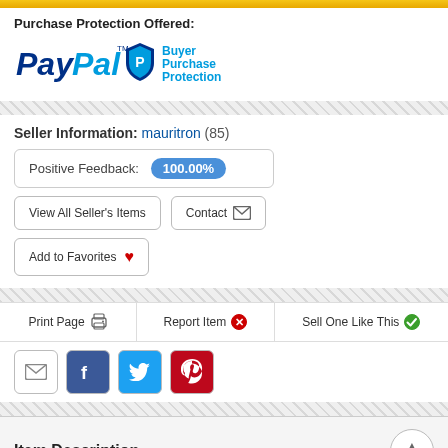Purchase Protection Offered:
[Figure (logo): PayPal Buyer Purchase Protection logo with shield icon]
Seller Information: mauritron (85)
Positive Feedback: 100.00%
View All Seller's Items
Contact
Add to Favorites
Print Page
Report Item
Sell One Like This
[Figure (infographic): Social sharing icons: email, Facebook, Twitter, Pinterest]
Item Description